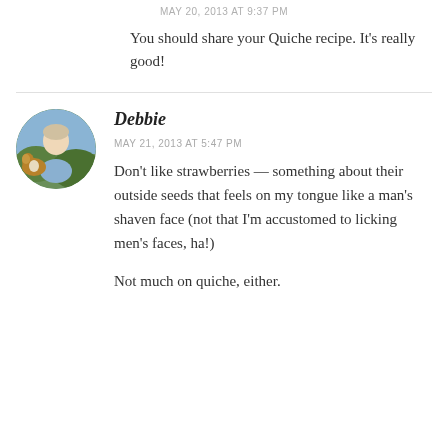MAY 20, 2013 AT 9:37 PM
You should share your Quiche recipe. It's really good!
[Figure (photo): Circular avatar photo of Debbie, a woman with light hair holding or standing near a dog (collie), outdoors.]
Debbie
MAY 21, 2013 AT 5:47 PM
Don't like strawberries — something about their outside seeds that feels on my tongue like a man's shaven face (not that I'm accustomed to licking men's faces, ha!)
Not much on quiche, either.